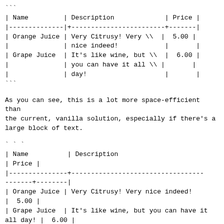```
| Name | Description | Price |
| --- | --- | --- |
| Orange Juice | Very Citrusy! Very \\
nice indeed! | 5.00 |
| Grape Juice | It's like wine, but \\
you can have it all \\
day! | 6.00 |
```
As you can see, this is a lot more space-efficient than the current, vanilla solution, especially if there's a large block of text.
```
| Name          | Description
| Price |
|---------------+----------------------------------
-------+--------|
| Orange Juice | Very Citrusy! Very nice indeed!
|  5.00 |
| Grape Juice  | It's like wine, but you can have it
all day! |  6.00 |
```
I *am* aware of table-mode's existence, however, I would prefer to work with native org syntax, which often has a cleaner, less bloated HTML output.
Code-wise, the use of the '\\' symbol is only